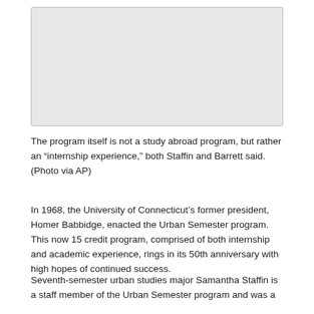[Figure (photo): Placeholder image box (photo content not visible)]
The program itself is not a study abroad program, but rather an “internship experience,” both Staffin and Barrett said. (Photo via AP)
In 1968, the University of Connecticut’s former president, Homer Babbidge, enacted the Urban Semester program. This now 15 credit program, comprised of both internship and academic experience, rings in its 50th anniversary with high hopes of continued success.
Seventh-semester urban studies major Samantha Staffin is a staff member of the Urban Semester program and was a participant in the fall of 2017...